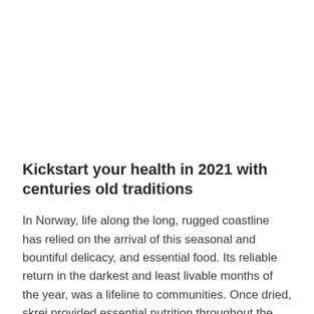[Figure (photo): Image placeholder at top of page, appears to be a photo (content not visible in this crop)]
Kickstart your health in 2021 with centuries old traditions
In Norway, life along the long, rugged coastline has relied on the arrival of this seasonal and bountiful delicacy, and essential food. Its reliable return in the darkest and least livable months of the year, was a lifeline to communities. Once dried, skrei provided essential nutrition throughout the year, also outside